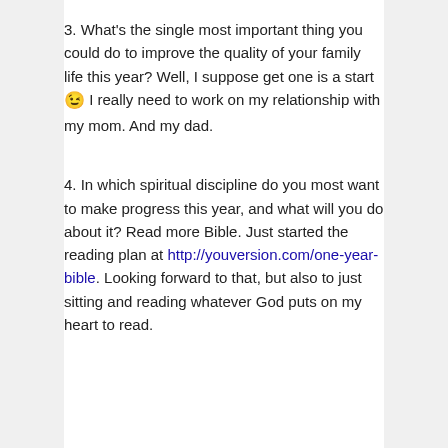3. What's the single most important thing you could do to improve the quality of your family life this year? Well, I suppose get one is a start 😉 I really need to work on my relationship with my mom. And my dad.
4. In which spiritual discipline do you most want to make progress this year, and what will you do about it? Read more Bible. Just started the reading plan at http://youversion.com/one-year-bible. Looking forward to that, but also to just sitting and reading whatever God puts on my heart to read.